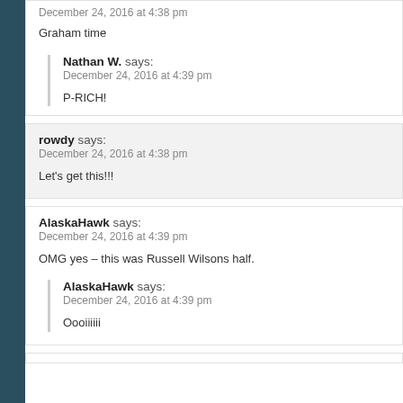December 24, 2016 at 4:38 pm
Graham time
Nathan W. says:
December 24, 2016 at 4:39 pm
P-RICH!
rowdy says:
December 24, 2016 at 4:38 pm
Let's get this!!!
AlaskaHawk says:
December 24, 2016 at 4:39 pm
OMG yes – this was Russell Wilsons half.
AlaskaHawk says:
December 24, 2016 at 4:39 pm
Oooiiiiii